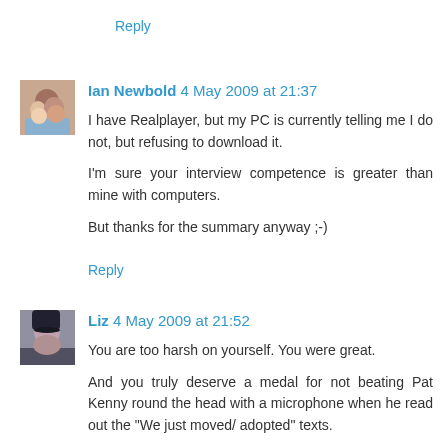Reply
[Figure (photo): Avatar photo of Ian Newbold showing two people]
Ian Newbold 4 May 2009 at 21:37
I have Realplayer, but my PC is currently telling me I do not, but refusing to download it.

I'm sure your interview competence is greater than mine with computers.

But thanks for the summary anyway ;-)
Reply
[Figure (photo): Avatar photo of Liz showing a person with dark hair]
Liz 4 May 2009 at 21:52
You are too harsh on yourself. You were great.

And you truly deserve a medal for not beating Pat Kenny round the head with a microphone when he read out the "We just moved/ adopted" texts.